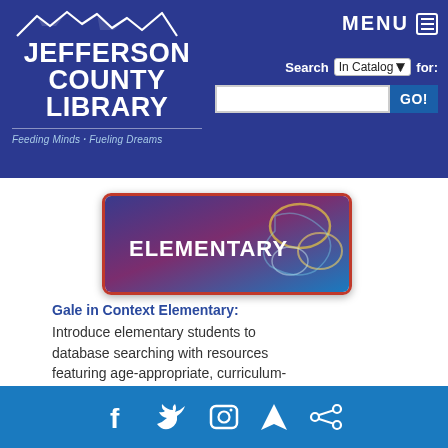JEFFERSON COUNTY LIBRARY — Feeding Minds · Fueling Dreams — MENU — Search In Catalog for:
[Figure (screenshot): Jefferson County Library website header with navy blue background, mountain logo, navigation menu, and search bar]
[Figure (illustration): Elementary banner button with dark blue/purple gradient background and decorative floral art on right side, bold white text reading ELEMENTARY, red top border]
Gale in Context Elementary: Introduce elementary students to database searching with resources featuring age-appropriate, curriculum-related content.
[Figure (screenshot): ProQuest database banner button with steel blue gradient background showing ProQuest logo text]
Social media icons: Facebook, Twitter, Instagram, Location/Navigation, Share